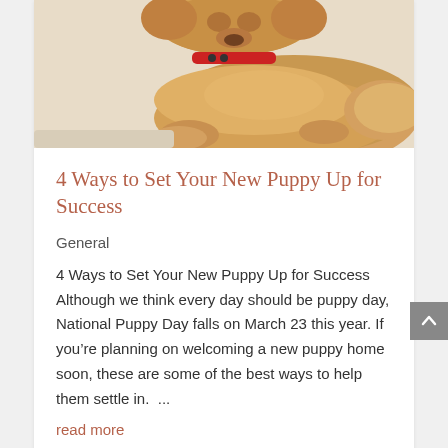[Figure (photo): Golden retriever puppy lying down wearing a red collar, viewed from above on a light surface.]
4 Ways to Set Your New Puppy Up for Success
General
4 Ways to Set Your New Puppy Up for Success   Although we think every day should be puppy day, National Puppy Day falls on March 23 this year. If you're planning on welcoming a new puppy home soon, these are some of the best ways to help them settle in.  ...
read more